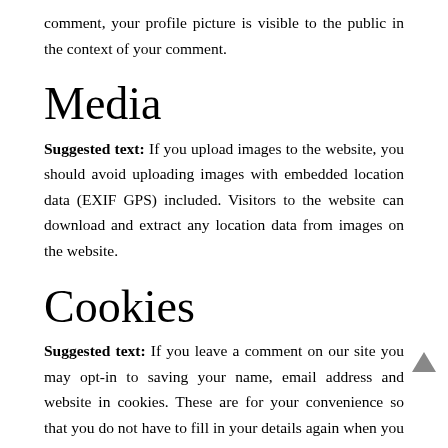comment, your profile picture is visible to the public in the context of your comment.
Media
Suggested text: If you upload images to the website, you should avoid uploading images with embedded location data (EXIF GPS) included. Visitors to the website can download and extract any location data from images on the website.
Cookies
Suggested text: If you leave a comment on our site you may opt-in to saving your name, email address and website in cookies. These are for your convenience so that you do not have to fill in your details again when you leave